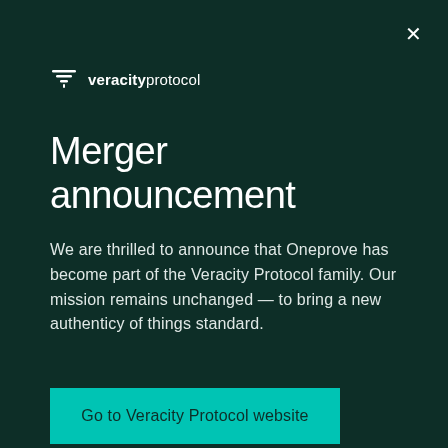[Figure (logo): Veracity Protocol logo with funnel/filter icon and text 'veracityprotocol']
Merger announcement
We are thrilled to announce that Oneprove has become part of the Veracity Protocol family. Our mission remains unchanged — to bring a new authenticy of things standard.
Go to Veracity Protocol website